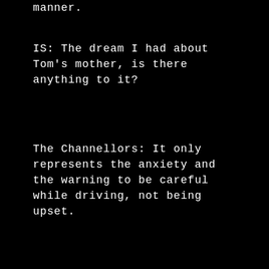manner.
IS: The dream I had about Tom's mother, is there anything to it?
The Channellors: It only represents the anxiety and the warning to be careful while driving, not being upset.